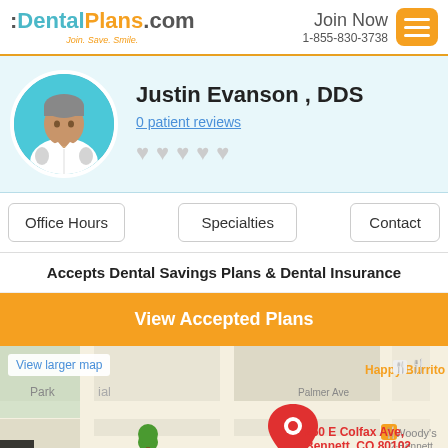DentalPlans.com — Join. Save. Smile. | Join Now 1-855-830-3738
Justin Evanson , DDS
0 patient reviews
Accepts Dental Savings Plans & Dental Insurance
View Accepted Plans
[Figure (map): Google Maps screenshot showing location at 250 E Colfax Ave, Bennett, CO 80102 with nearby landmarks including Happy Burrito Mexican restaurant and Woody's. View larger map link visible. Includes a red map pin marker and a green tree marker.]
View larger map
250 E Colfax Ave, Bennett, CO 80102